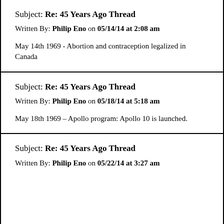Subject: Re: 45 Years Ago Thread
Written By: Philip Eno on 05/14/14 at 2:08 am
May 14th 1969 - Abortion and contraception legalized in Canada
Subject: Re: 45 Years Ago Thread
Written By: Philip Eno on 05/18/14 at 5:18 am
May 18th 1969 – Apollo program: Apollo 10 is launched.
Subject: Re: 45 Years Ago Thread
Written By: Philip Eno on 05/22/14 at 3:27 am